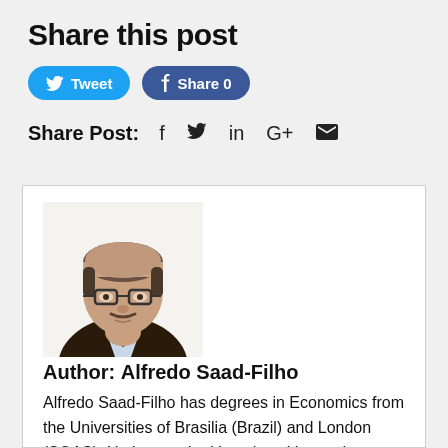Share this post
[Figure (other): Tweet and Facebook Share 0 social sharing buttons]
Share Post: f  in G+  (envelope icon)
[Figure (photo): Headshot photo of Alfredo Saad-Filho, a man with glasses and dark jacket]
Author: Alfredo Saad-Filho
Alfredo Saad-Filho has degrees in Economics from the Universities of Brasilia (Brazil) and London (SOAS). He has worked in universities and research institutions based in Brazil, Canada, Japan, Mozambique, Switzerland and the UK, and